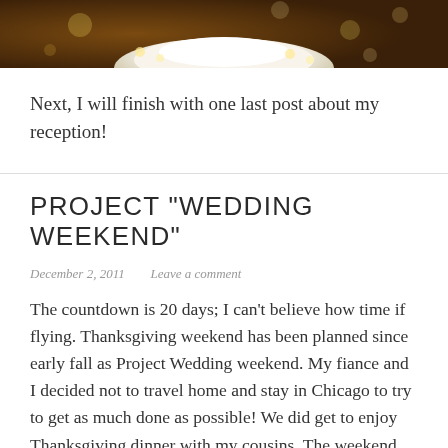[Figure (photo): Top portion of a wedding cake with warm bokeh lights in background, warm brown tones]
Next, I will finish with one last post about my reception!
PROJECT "WEDDING WEEKEND"
December 2, 2011   Leave a comment
The countdown is 20 days; I can't believe how time if flying. Thanksgiving weekend has been planned since early fall as Project Wedding weekend. My fiance and I decided not to travel home and stay in Chicago to try to get as much done as possible! We did get to enjoy Thanksgiving dinner with my cousins. The weekend